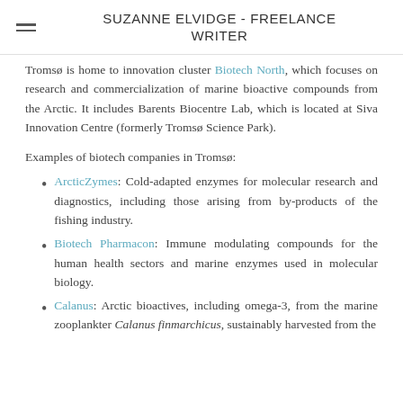SUZANNE ELVIDGE - FREELANCE WRITER
Tromsø is home to innovation cluster Biotech North, which focuses on research and commercialization of marine bioactive compounds from the Arctic. It includes Barents Biocentre Lab, which is located at Siva Innovation Centre (formerly Tromsø Science Park).
Examples of biotech companies in Tromsø:
ArcticZymes: Cold-adapted enzymes for molecular research and diagnostics, including those arising from by-products of the fishing industry.
Biotech Pharmacon: Immune modulating compounds for the human health sectors and marine enzymes used in molecular biology.
Calanus: Arctic bioactives, including omega-3, from the marine zooplankter Calanus finmarchicus, sustainably harvested from the